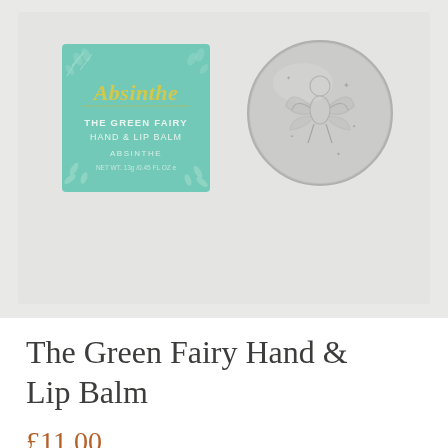[Figure (photo): Product photo showing an Absinthe 'The Green Fairy Hand & Lip Balm' teal/mint green square box packaging with gold script 'Absinthe' lettering and decorative leaf pattern, alongside a round silver/grey embossed metal tin with a fairy figure design, both photographed on a light grey background.]
The Green Fairy Hand & Lip Balm
£11.00